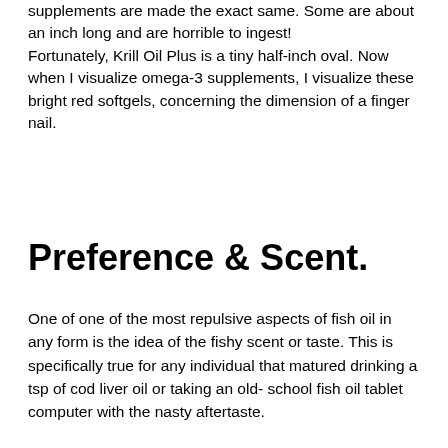supplements are made the exact same. Some are about an inch long and are horrible to ingest! Fortunately, Krill Oil Plus is a tiny half-inch oval. Now when I visualize omega-3 supplements, I visualize these bright red softgels, concerning the dimension of a finger nail.
Preference & Scent.
One of one of the most repulsive aspects of fish oil in any form is the idea of the fishy scent or taste. This is specifically true for any individual that matured drinking a tsp of cod liver oil or taking an old- school fish oil tablet computer with the nasty aftertaste.